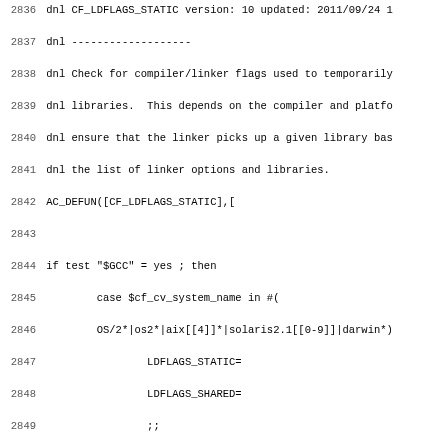Source code listing lines 2836-2867 of an autoconf macro file (CF_LDFLAGS_STATIC). Contains shell script logic for setting LDFLAGS_STATIC and LDFLAGS_SHARED based on compiler (GCC vs non-GCC) and platform (OS/2, aix, solaris, darwin, hpux, irix).